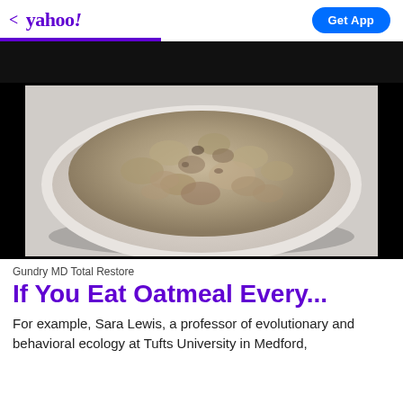< yahoo!   Get App
[Figure (photo): A white bowl filled with cooked oatmeal porridge, photographed from above on a white/light background.]
Gundry MD Total Restore
If You Eat Oatmeal Every...
For example, Sara Lewis, a professor of evolutionary and behavioral ecology at Tufts University in Medford,